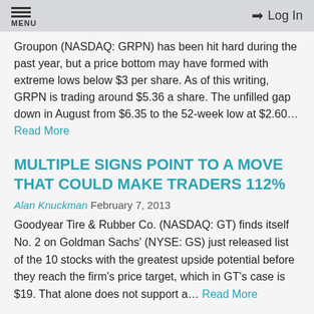MENU | Log In
Groupon (NASDAQ: GRPN) has been hit hard during the past year, but a price bottom may have formed with extreme lows below $3 per share. As of this writing, GRPN is trading around $5.36 a share. The unfilled gap down in August from $6.35 to the 52-week low at $2.60... Read More
MULTIPLE SIGNS POINT TO A MOVE THAT COULD MAKE TRADERS 112%
Alan Knuckman February 7, 2013
Goodyear Tire & Rubber Co. (NASDAQ: GT) finds itself No. 2 on Goldman Sachs' (NYSE: GS) just released list of the 10 stocks with the greatest upside potential before they reach the firm's price target, which in GT's case is $19. That alone does not support a... Read More
THIS DEFENSE STOCK COULD LAND TRADERS 200% PROFITS BY 2014